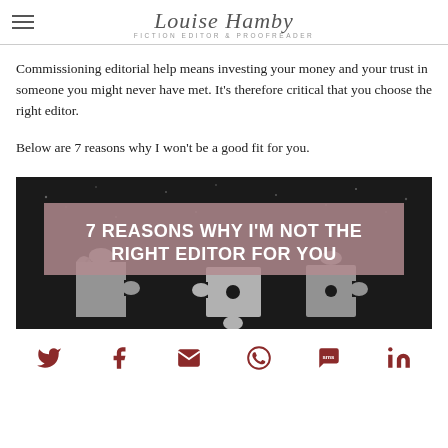Louise Hamby — Fiction Editor & Proofreader
Commissioning editorial help means investing your money and your trust in someone you might never have met. It's therefore critical that you choose the right editor.
Below are 7 reasons why I won't be a good fit for you.
[Figure (illustration): Dark textured background with puzzle pieces at the bottom, and a mauve/pink overlay banner reading '7 REASONS WHY I'M NOT THE RIGHT EDITOR FOR YOU' in bold white uppercase text.]
Social share icons: Twitter, Facebook, Email, WhatsApp, SMS, LinkedIn